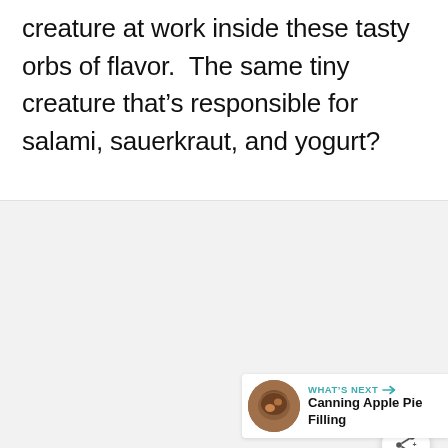creature at work inside these tasty orbs of flavor. The same tiny creature that's responsible for salami, sauerkraut, and yogurt?
[Figure (other): Advertisement placeholder area with gray background and three dots loading indicator, share button, and a 'What's Next' widget showing Canning Apple Pie Filling]